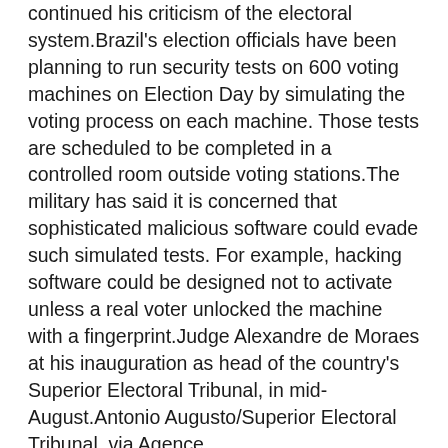continued his criticism of the electoral system.Brazil's election officials have been planning to run security tests on 600 voting machines on Election Day by simulating the voting process on each machine. Those tests are scheduled to be completed in a controlled room outside voting stations.The military has said it is concerned that sophisticated malicious software could evade such simulated tests. For example, hacking software could be designed not to activate unless a real voter unlocked the machine with a fingerprint.Judge Alexandre de Moraes at his inauguration as head of the country's Superior Electoral Tribunal, in mid-August.Antonio Augusto/Superior Electoral Tribunal, via Agence